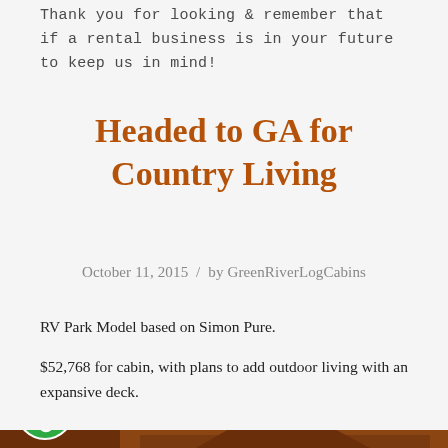Thank you for looking & remember that if a rental business is in your future to keep us in mind!
Headed to GA for Country Living
October 11, 2015 / by GreenRiverLogCabins
RV Park Model based on Simon Pure.
$52,768 for cabin, with plans to add outdoor living with an expansive deck.
[Figure (photo): Exterior photo of a log cabin with a gabled roof, wooden siding visible, showing the upper portion of the structure against a green tree background. An accessibility icon badge is overlaid in the bottom-left corner.]